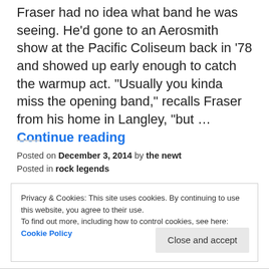Fraser had no idea what band he was seeing. He'd gone to an Aerosmith show at the Pacific Coliseum back in '78 and showed up early enough to catch the warmup act. "Usually you kinda miss the opening band," recalls Fraser from his home in Langley, "but … Continue reading
Posted on December 3, 2014 by the newt
Posted in rock legends
Privacy & Cookies: This site uses cookies. By continuing to use this website, you agree to their use.
To find out more, including how to control cookies, see here: Cookie Policy
Close and accept